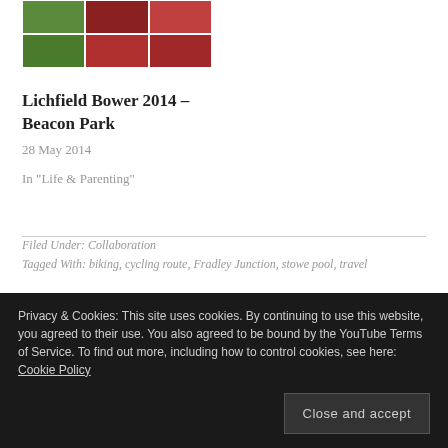[Figure (photo): Grid of 6 photos from Lichfield Bower 2014 event, showing colorful outdoor scenes]
Lichfield Bower 2014 – Beacon Park
28 May 2014
In "Life & Parenting"
Filed Under: Collaboration
Tagged With: biking, cycling route, Fradley Junction, stowe pool, travel
« SoundPEATS Bluetooth Headset Wireless Earphones Review
Privacy & Cookies: This site uses cookies. By continuing to use this website, you agreed to their use. You also agreed to be bound by the YouTube Terms of Service. To find out more, including how to control cookies, see here: Cookie Policy